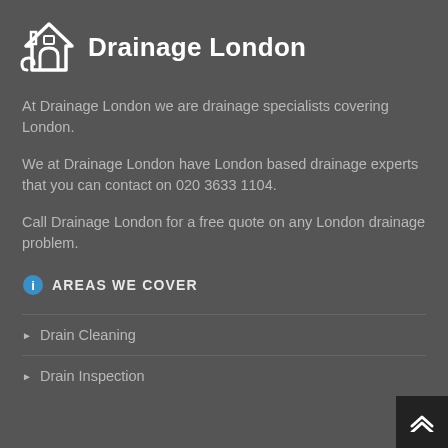Drainage London
At Drainage London we are drainage specialists covering London.
We at Drainage London have London based drainage experts that you can contact on 020 3633 1104.
Call Drainage London for a free quote on any London drainage problem.
AREAS WE COVER
Drain Cleaning
Drain Inspection